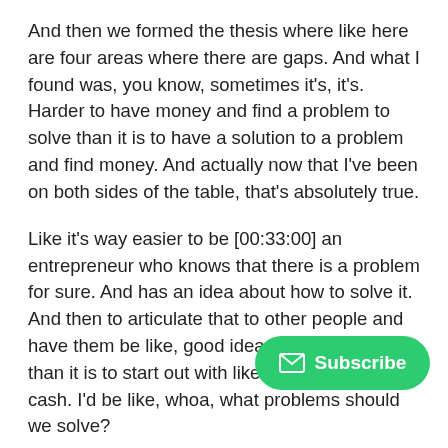And then we formed the thesis where like here are four areas where there are gaps. And what I found was, you know, sometimes it's, it's. Harder to have money and find a problem to solve than it is to have a solution to a problem and find money. And actually now that I've been on both sides of the table, that's absolutely true.
Like it's way easier to be [00:33:00] an entrepreneur who knows that there is a problem for sure. And has an idea about how to solve it. And then to articulate that to other people and have them be like, good idea. Here's my money than it is to start out with like millions of dollars cash. I'd be like, whoa, what problems should we solve?
So we, we developed, you know, a lot, like any